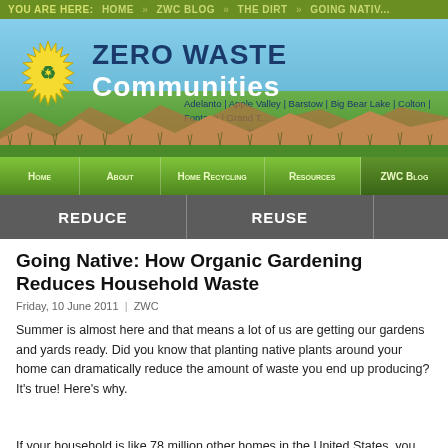YOU ARE HERE: HOME » ZWC BLOG » THE DIRT » GOING NATIVE
[Figure (screenshot): Zero Waste Communities website header banner with logo (sun with recycling symbol), site title 'ZERO WASTE Communities', subtitle listing cities, mountain landscape background, navigation bar with Home, About, Home Recycling, Resources, ZWC Blog, and sub-navigation with REDUCE, REUSE]
Going Native: How Organic Gardening Reduces Household Waste
Friday, 10 June 2011 | ZWC
Summer is almost here and that means a lot of us are getting our gardens and yards ready. Did you know that planting native plants around your home can dramatically reduce the amount of waste you end up producing? It's true! Here's why.
If your household is like 78 million other homes in the United States, you likely